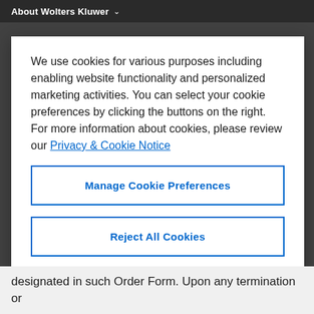About Wolters Kluwer
We use cookies for various purposes including enabling website functionality and personalized marketing activities. You can select your cookie preferences by clicking the buttons on the right. For more information about cookies, please review our Privacy & Cookie Notice
Manage Cookie Preferences
Reject All Cookies
Accept All Cookies
designated in such Order Form. Upon any termination or